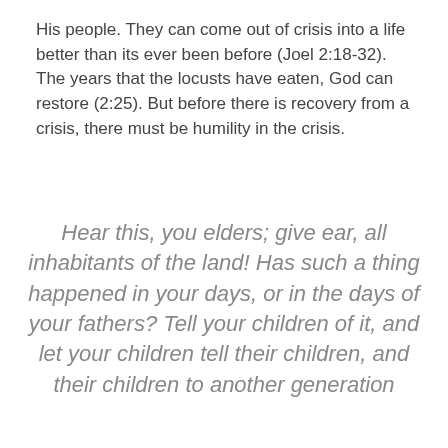His people. They can come out of crisis into a life better than its ever been before (Joel 2:18-32). The years that the locusts have eaten, God can restore (2:25). But before there is recovery from a crisis, there must be humility in the crisis.
Hear this, you elders; give ear, all inhabitants of the land! Has such a thing happened in your days, or in the days of your fathers? Tell your children of it, and let your children tell their children, and their children to another generation